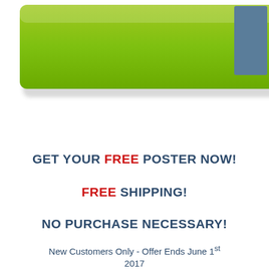[Figure (illustration): Green speech bubble/banner shape pointing down-right, with a dark steel-blue square overlapping the top-right corner]
GET YOUR FREE POSTER NOW!
FREE SHIPPING!
NO PURCHASE NECESSARY!
New Customers Only - Offer Ends June 1st 2017